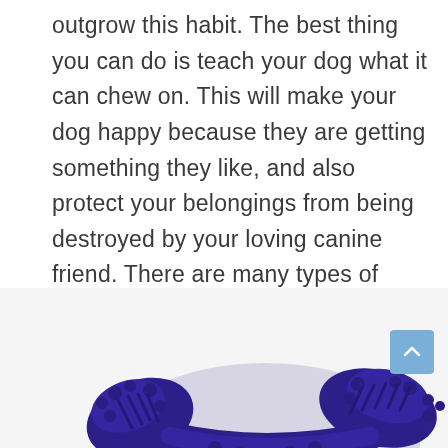outgrow this habit. The best thing you can do is teach your dog what it can chew on. This will make your dog happy because they are getting something they like, and also protect your belongings from being destroyed by your loving canine friend. There are many types of chew toys for dogs, so you can find one that will be just perfect for your pooch.
[Figure (photo): A purple/dark blue rubber dog chew toy shaped like a bumpy ring/donut with ridges and nubs, photographed against a white background. Partially cropped at the bottom of the page. A light blue scroll-to-top button with a caret/arrow icon is visible in the lower right corner.]